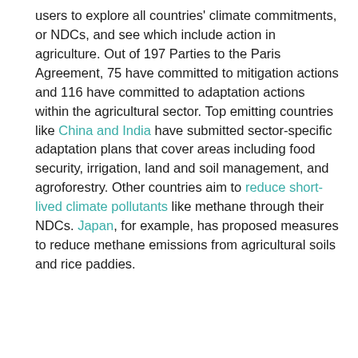users to explore all countries' climate commitments, or NDCs, and see which include action in agriculture. Out of 197 Parties to the Paris Agreement, 75 have committed to mitigation actions and 116 have committed to adaptation actions within the agricultural sector. Top emitting countries like China and India have submitted sector-specific adaptation plans that cover areas including food security, irrigation, land and soil management, and agroforestry. Other countries aim to reduce short-lived climate pollutants like methane through their NDCs. Japan, for example, has proposed measures to reduce methane emissions from agricultural soils and rice paddies.